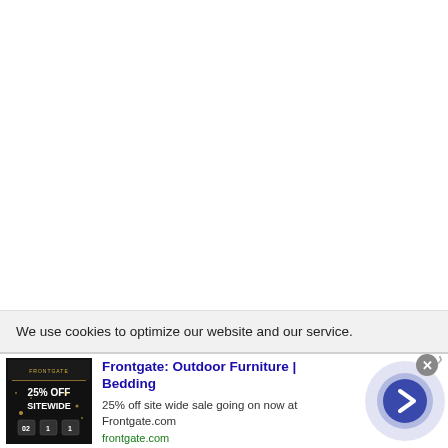We use cookies to optimize our website and our service.
[Figure (screenshot): Advertisement for Frontgate showing '25% OFF SITEWIDE' text on dark background with countdown timer]
Frontgate: Outdoor Furniture | Bedding
25% off site wide sale going on now at Frontgate.com
frontgate.com